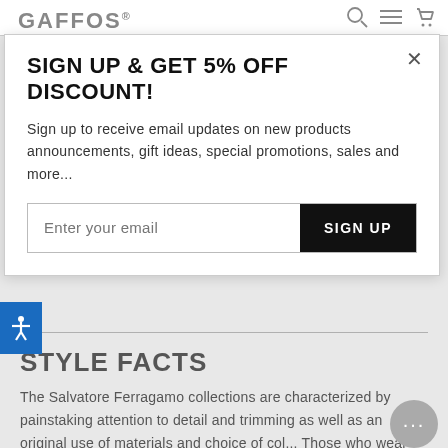GAFFOS
SIGN UP & GET 5% OFF DISCOUNT!
Sign up to receive email updates on new products announcements, gift ideas, special promotions, sales and more...
Enter your email | SIGN UP
STYLE FACTS
The Salvatore Ferragamo collections are characterized by painstaking attention to detail and trimming as well as an original use of materials and choice of col... Those who wear Salvatore Ferragamo eyewear fe... they possess a unique, custom crafted object, a little masterpiece inspired by the craftsman like tradition of